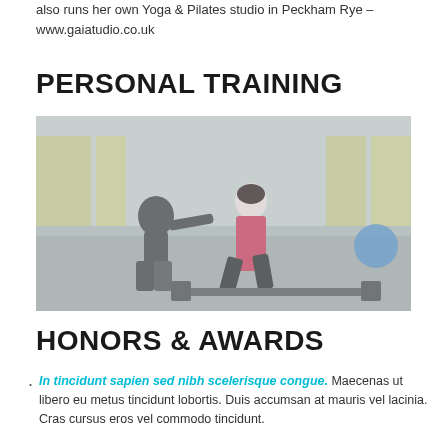also runs her own Yoga & Pilates studio in Peckham Rye – www.gaiatudio.co.uk
PERSONAL TRAINING
[Figure (photo): A personal trainer coaching a woman performing a barbell deadlift in a gym setting. The trainer is kneeling beside the woman, guiding her form.]
HONORS & AWARDS
In tincidunt sapien sed nibh scelerisque congue. Maecenas ut libero eu metus tincidunt lobortis. Duis accumsan at mauris vel lacinia. Cras cursus eros vel commodo tincidunt.
Phasellus tempor urna erat, a fringilla elit vulputate in.